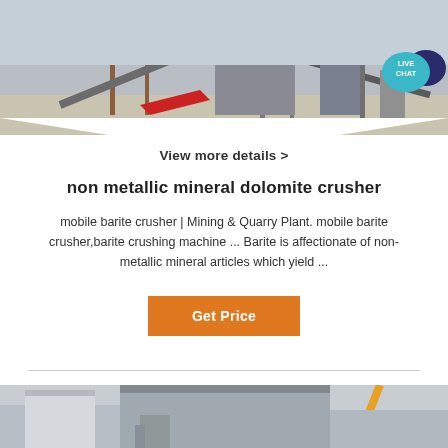[Figure (photo): Mining/quarry facility with conveyor belts, structural steel frames, and industrial machinery against a pale sky background.]
View more details >
non metallic mineral dolomite crusher
mobile barite crusher | Mining & Quarry Plant. mobile barite crusher,barite crushing machine ... Barite is affectionate of non-metallic mineral articles which yield ...
Get Price
[Figure (photo): Industrial machinery or crushing equipment building exterior, partially visible at bottom of page.]